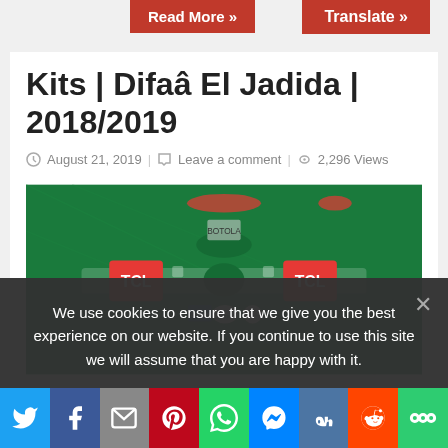Read More »
Translate »
Kits | Difaâ El Jadida | 2018/2019
August 21, 2019   Leave a comment   2,296 Views
[Figure (photo): Football kit for Difaâ El Jadida 2018/2019 season showing green jersey with TCL sponsor logos on each sleeve and league badges on the front]
We use cookies to ensure that we give you the best experience on our website. If you continue to use this site we will assume that you are happy with it.
[Figure (other): Social sharing bar with Twitter, Facebook, Email, Pinterest, WhatsApp, Messenger, VK, Reddit, and More buttons]